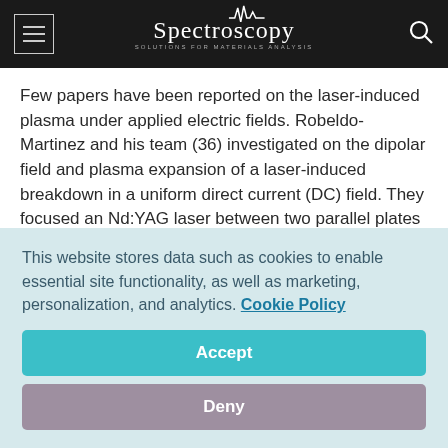Spectroscopy — Solutions for Materials Analysis
Few papers have been reported on the laser-induced plasma under applied electric fields. Robeldo-Martinez and his team (36) investigated on the dipolar field and plasma expansion of a laser-induced breakdown in a uniform direct current (DC) field. They focused an Nd:YAG laser between two parallel plates connected to a DC power supply, and investigated the plasma expansion and formation of the LIBS in air by utilizing an electric field measurement and fast photography. Their
This website stores data such as cookies to enable essential site functionality, as well as marketing, personalization, and analytics. Cookie Policy
Accept
Deny